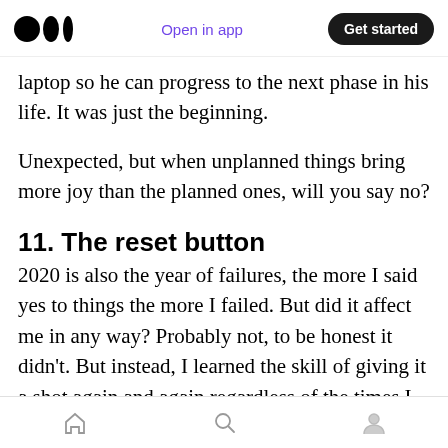Open in app | Get started
laptop so he can progress to the next phase in his life. It was just the beginning.
Unexpected, but when unplanned things bring more joy than the planned ones, will you say no?
11. The reset button
2020 is also the year of failures, the more I said yes to things the more I failed. But did it affect me in any way? Probably not, to be honest it didn't. But instead, I learned the skill of giving it a shot again and again regardless of the times I fail. For instance, I broke the chain of writing every day
home | search | profile